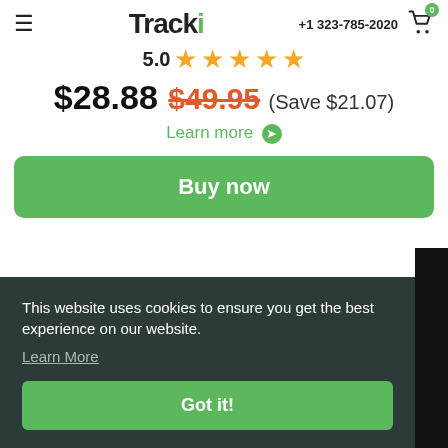Tracki | +1 323-785-2020
5.0 ★★★★★
$28.88 $49.95 (Save $21.07)
Learn more →
Buy now
This website uses cookies to ensure you get the best experience on our website.
Learn More
Got it!